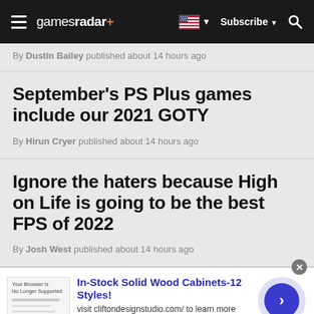gamesradar+ — Subscribe — Search
By Dustin Bailey published about 14 hours ago
September's PS Plus games include our 2021 GOTY
By Hirun Cryer published about 14 hours ago
Ignore the haters because High on Life is going to be the best FPS of 2022
By Josh West published about 14 hours ago
[Figure (screenshot): Advertisement banner for In-Stock Solid Wood Cabinets at cliftondesignstudio.com with a thumbnail image, ad text, and a blue circular arrow button]